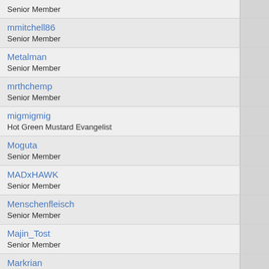Senior Member
mmitchell86
Senior Member
Metalman
Senior Member
mrthchemp
Senior Member
migmigmig
Hot Green Mustard Evangelist
Moguta
Senior Member
MADxHAWK
Senior Member
Menschenfleisch
Senior Member
Majin_Tost
Senior Member
Markrian
Senior Member
mynameisnobody
Senior Member
mike3ike
Senior Member